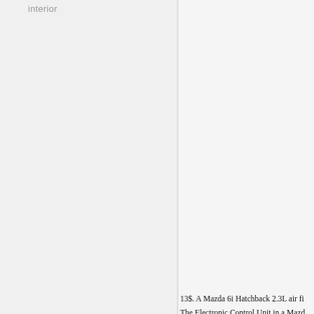interior
13$. A Mazda 6i Hatchback 2.3L air fi...
The Electronic Control Unit in a Mazd... considered the brain of the cars fuel... electrical system to surge when the ve...
Mazda MPV V6 ignition control unit is...
In fuel injected Mazda cars the fuel fi... vehicle. A Mazda fuel filter has a hose... reliable connection to the fuel system.
To keep the fuel system free from pr... undue pressure on the electric fuel pu... injectors.
A Mazda Millenia 2.3 V6 fuel filter is a... Miata (Speed) Turbo fuel filter costs ab...
Responsible for the transfer of power... ring fits onto that groove. Detonation...